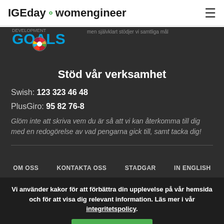IGEday womengineer
[Figure (logo): UN Sustainable Development Goals logo with colorful wheel icon and text DEVELOPMENT GOALS in cyan/blue]
Stöd vår verksamhet
Swish: 123 323 46 48
PlusGiro: 95 82 76-8
Glöm inte att skriva vem du är så att vi kan återkomma till dig med en redogörelse av vad pengarna gick till, samt tacka dig!
OM OSS  KONTAKTA OSS  STADGAR  IN ENGLISH
Vi använder kakor för att förbättra din upplevelse på vår hemsida och för att visa dig relevant information. Läs mer i vår integritetspolicy.